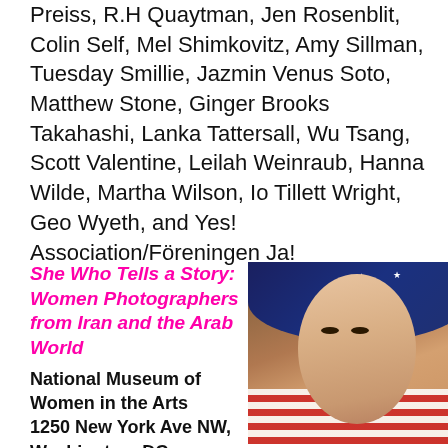Preiss, R.H Quaytman, Jen Rosenblit, Colin Self, Mel Shimkovitz, Amy Sillman, Tuesday Smillie, Jazmin Venus Soto, Matthew Stone, Ginger Brooks Takahashi, Lanka Tattersall, Wu Tsang, Scott Valentine, Leilah Weinraub, Hanna Wilde, Martha Wilson, Io Tillett Wright, Geo Wyeth, and Yes! Association/Föreningen Ja!
She Who Tells a Story: Women Photographers from Iran and the Arab World
National Museum of Women in the Arts
1250 New York Ave NW, Washington, DC
April 8–July 31, 2016
[Figure (photo): Portrait photograph of a young woman wearing a hijab made from an American flag — navy blue with white stars wrapped around her head, red and white stripes draped across her shoulders. Warm brown background.]